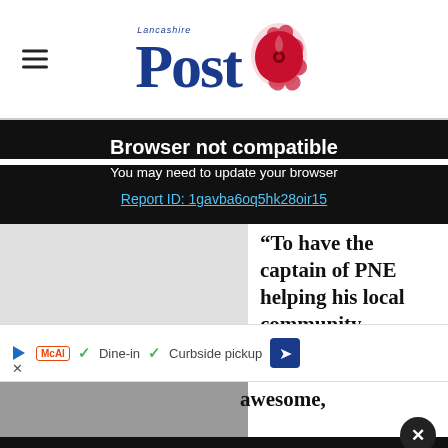Lancashire Post
Browser not compatible
You may need to update your browser
Report ID: 1gavba6oq5hk28oir15
“To have the captain of PNE helping his local community
[Figure (other): Advertisement banner: play icon, McAl badge, checkmarks, Dine-in, Curbside pickup, arrow icon, close X]
awesome,
50% off annual subscriptions
Subscribe today